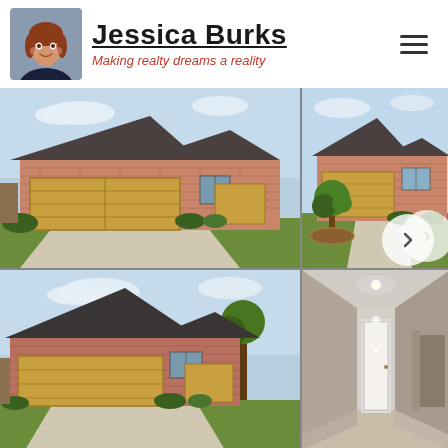[Figure (logo): Jessica Burks real estate agent logo with headshot photo, name 'Jessica Burks' and tagline 'Making realty dreams a reality']
[Figure (photo): Grid of four real estate property photos showing brick ranch-style homes with two-car garages, driveways, and manicured lawns. Top-left: front exterior of brick home with double garage. Top-right: another brick home with young tree in circular planting bed. Bottom-left: similar brick home exterior front view. Bottom-right: interior hallway/entryway of home.]